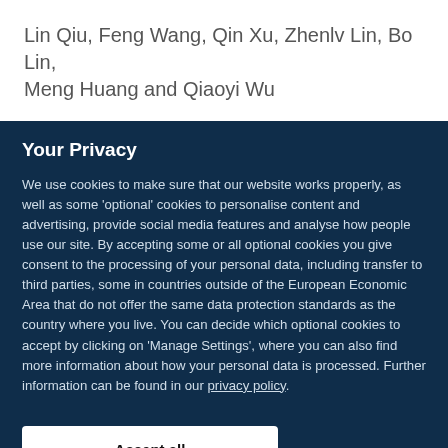Lin Qiu, Feng Wang, Qin Xu, Zhenlv Lin, Bo Lin, Meng Huang and Qiaoyi Wu
Your Privacy
We use cookies to make sure that our website works properly, as well as some 'optional' cookies to personalise content and advertising, provide social media features and analyse how people use our site. By accepting some or all optional cookies you give consent to the processing of your personal data, including transfer to third parties, some in countries outside of the European Economic Area that do not offer the same data protection standards as the country where you live. You can decide which optional cookies to accept by clicking on 'Manage Settings', where you can also find more information about how your personal data is processed. Further information can be found in our privacy policy.
Accept all cookies
Manage preferences